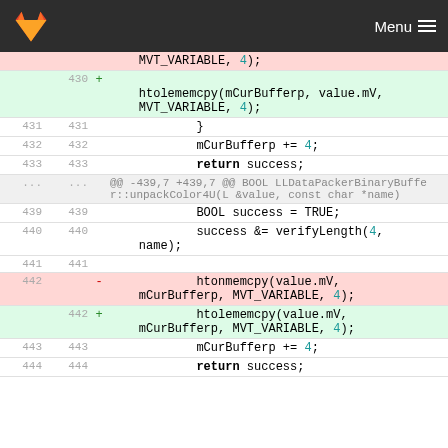GitLab Menu
Diff view showing code changes around line 430-444 of a C++ file. Changes replace htonmemcpy with htolememcpy calls.